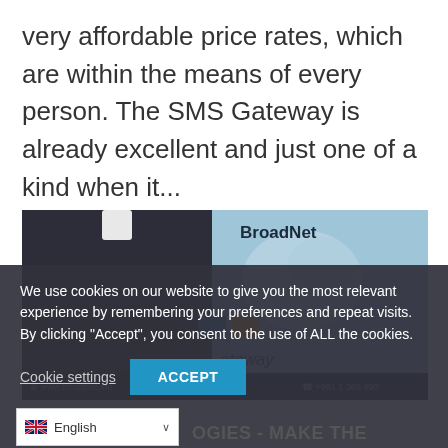very affordable price rates, which are within the means of every person. The SMS Gateway is already excellent and just one of a kind when it...
[Figure (screenshot): Screenshot of a BroadNet website showing a person using a mobile phone against a blue background, with a cookie consent overlay dialog. The overlay contains text about cookies and two buttons: 'Cookie settings' and 'ACCEPT'. At the bottom is a footer bar with www.broadnet.me, info@broadnet.me, and +961 1 366 490. Below the image is a language selector showing 'English' with a UK flag.]
We use cookies on our website to give you the most relevant experience by remembering your preferences and repeat visits. By clicking "Accept", you consent to the use of ALL the cookies.
Cookie settings
ACCEPT
English
OGIES - MAKE THE